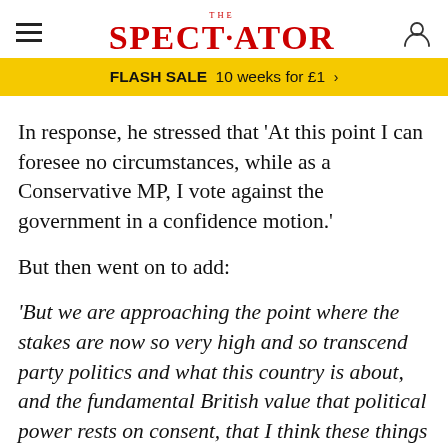THE SPECTATOR
FLASH SALE  10 weeks for £1  >
In response, he stressed that 'At this point I can foresee no circumstances, while as a Conservative MP, I vote against the government in a confidence motion.'
But then went on to add:
'But we are approaching the point where the stakes are now so very high and so transcend party politics and what this country is about, and the fundamental British value that political power rests on consent, that I think these things are coming on to the table.'